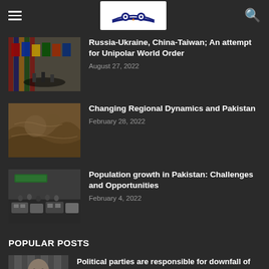Navigation header with hamburger menu, owl-logo, and search icon
[Figure (photo): Row of international flags displayed indoors]
Russia-Ukraine, China-Taiwan; An attempt for Unipolar World Order
August 27, 2022
[Figure (photo): Aerial/topographic map view with brown terrain]
Changing Regional Dynamics and Pakistan
February 28, 2022
[Figure (photo): Crowded street with vehicles and traffic]
Population growth in Pakistan: Challenges and Opportunities
February 4, 2022
POPULAR POSTS
[Figure (photo): Portrait/headshot of a person]
Political parties are responsible for downfall of Analytical work in Pakistan